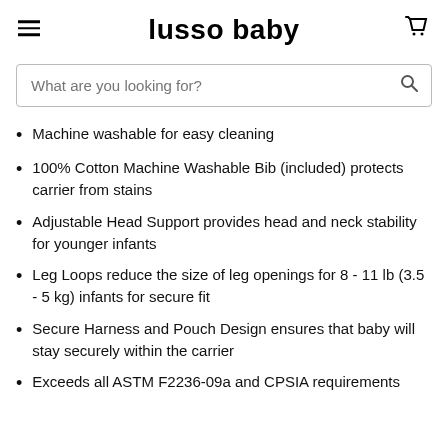lusso baby
Machine washable for easy cleaning
100% Cotton Machine Washable Bib (included) protects carrier from stains
Adjustable Head Support provides head and neck stability for younger infants
Leg Loops reduce the size of leg openings for 8 - 11 lb (3.5 - 5 kg) infants for secure fit
Secure Harness and Pouch Design ensures that baby will stay securely within the carrier
Exceeds all ASTM F2236-09a and CPSIA requirements